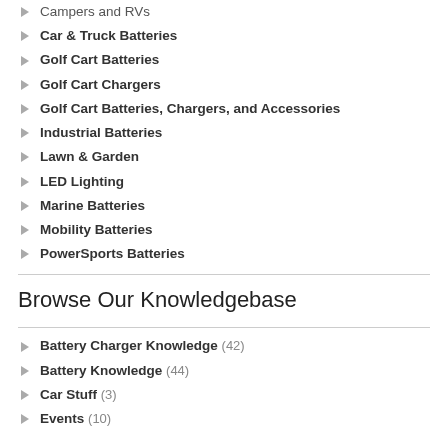Campers and RVs
Car & Truck Batteries
Golf Cart Batteries
Golf Cart Chargers
Golf Cart Batteries, Chargers, and Accessories
Industrial Batteries
Lawn & Garden
LED Lighting
Marine Batteries
Mobility Batteries
PowerSports Batteries
Browse Our Knowledgebase
Battery Charger Knowledge (42)
Battery Knowledge (44)
Car Stuff (3)
Events (10)